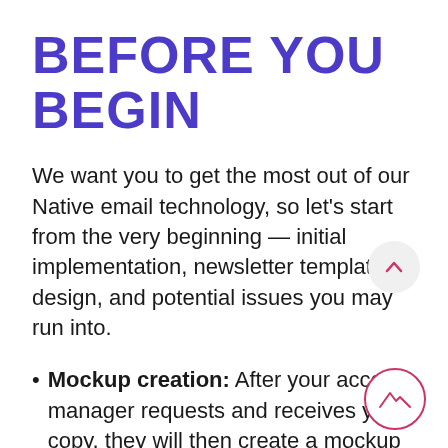BEFORE YOU BEGIN
We want you to get the most out of our Native email technology, so let’s start from the very beginning — initial implementation, newsletter template design, and potential issues you may run into.
Mockup creation: After your account manager requests and receives your copy, they will then create a mockup and send it back to